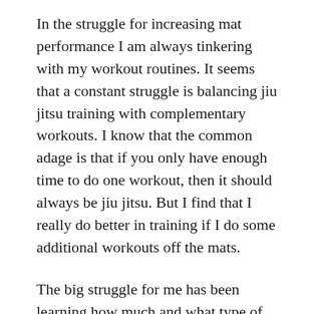In the struggle for increasing mat performance I am always tinkering with my workout routines. It seems that a constant struggle is balancing jiu jitsu training with complementary workouts. I know that the common adage is that if you only have enough time to do one workout, then it should always be jiu jitsu. But I find that I really do better in training if I do some additional workouts off the mats.
The big struggle for me has been learning how much and what type of ancillary training to do, so that the additional workouts don't burn me out too much. I used to lift heavy weights using the stronglifts program but I found that it left